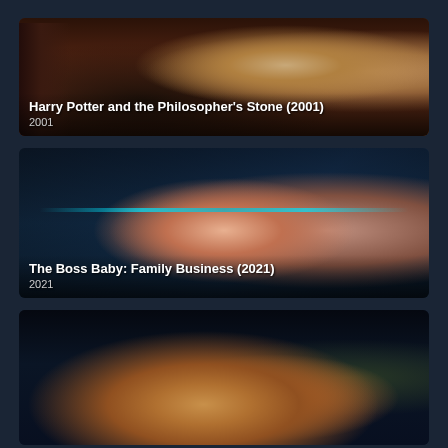[Figure (photo): Movie card for Harry Potter and the Philosopher's Stone (2001) showing Ron Weasley and Hermione Granger on the Hogwarts Express]
Harry Potter and the Philosopher's Stone (2001)
2001
[Figure (photo): Movie card for The Boss Baby: Family Business (2021) showing Boss Baby holding money and Tim Templeton as animated characters]
The Boss Baby: Family Business (2021)
2021
[Figure (photo): Movie card for a third animated film showing two animated characters — a man with a hat and glasses and a cat]